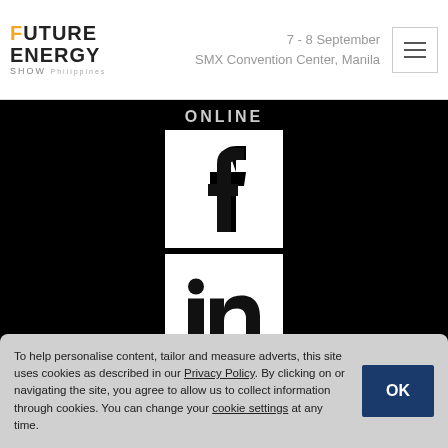FUTURE ENERGY SHOW | 7 - 8 September | SMX Convention Center, Manila
ONLINE
[Figure (logo): Facebook logo icon — white square with black 'f' lettermark]
[Figure (logo): LinkedIn logo icon — white square with black 'in' lettermark]
To help personalise content, tailor and measure adverts, this site uses cookies as described in our Privacy Policy. By clicking on or navigating the site, you agree to allow us to collect information through cookies. You can change your cookie settings at any time.